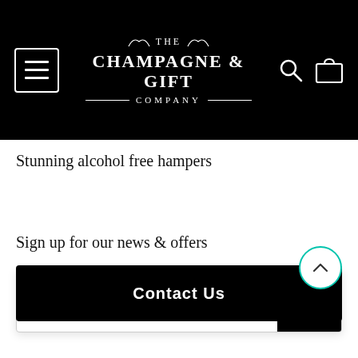[Figure (logo): The Champagne & Gift Company logo in white on black background, with hamburger menu icon on left and search/cart icons on right]
Stunning alcohol free hampers
Sign up for our news & offers
[Figure (screenshot): Email input field with 'Type your email' placeholder and black send button with paper plane icon]
Contact Us